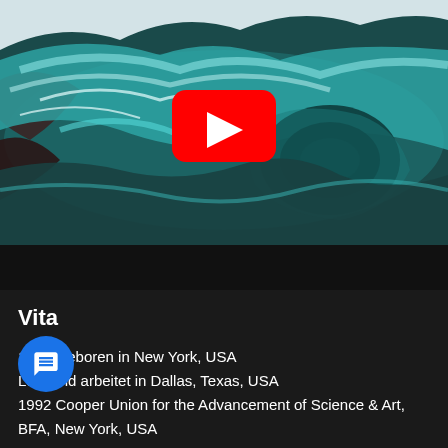[Figure (screenshot): YouTube video thumbnail showing a colorful oil painting of a crashing ocean wave in teal, blue, and white tones, with a red YouTube play button overlay in the center. Below the thumbnail is a black video controls bar.]
Vita
1970 Geboren in New York, USA
Lebt und arbeitet in Dallas, Texas, USA
1992 Cooper Union for the Advancement of Science & Art, BFA, New York, USA